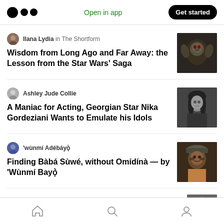Medium app header with logo, Open in app, Get started
Ilana Lydia in The Shortform
Wisdom from Long Ago and Far Away: the Lesson from the Star Wars' Saga
[Figure (photo): Thumbnail image of Yoda from Star Wars]
Ashley Jude Collie
A Maniac for Acting, Georgian Star Nika Gordeziani Wants to Emulate his Idols
[Figure (photo): Thumbnail image of actor Nika Gordeziani]
'wùnmí Adébáyọ̀
Finding Bàbá Sùwé, without Omídínà — by 'Wùnmí Bayọ̀
[Figure (photo): Thumbnail image related to Bàbá Sùwé article]
Lyuba Tsobakova
Bottom navigation: Home, Search, Profile